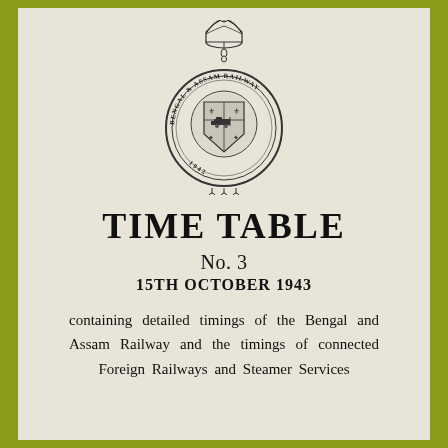[Figure (logo): Bengal & Assam Railway circular emblem/crest with crown on top, detailed heraldic design, dated 1942]
TIME TABLE
No. 3
15th OCTOBER 1943
containing detailed timings of the Bengal and Assam Railway and the timings of connected Foreign Railways and Steamer Services